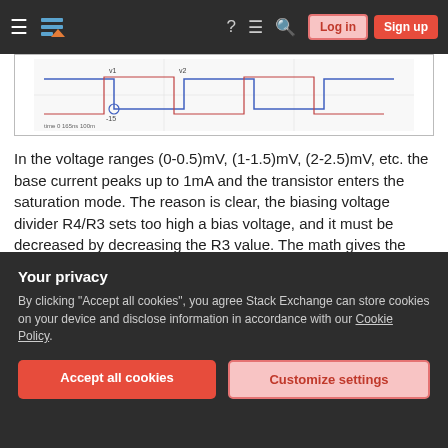Stack Exchange navigation bar with Log in and Sign up buttons
[Figure (engineering-diagram): Partial circuit simulation waveform diagram showing voltage signals, with axis label 'time 0 165ns 100m']
In the voltage ranges (0-0.5)mV, (1-1.5)mV, (2-2.5)mV, etc. the base current peaks up to 1mA and the transistor enters the saturation mode. The reason is clear, the biasing voltage divider R4/R3 sets too high a bias voltage, and it must be decreased by decreasing the R3 value. The math gives the value of approx. 4K that guarantees that the collector voltage is always greater than the emitter voltage. To be on the safe side and
Your privacy
By clicking "Accept all cookies", you agree Stack Exchange can store cookies on your device and disclose information in accordance with our Cookie Policy.